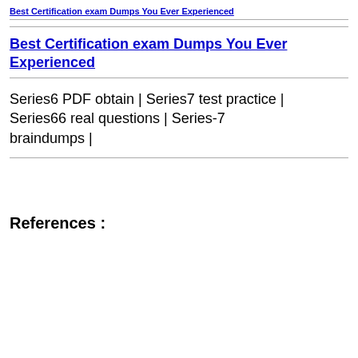Best Certification exam Dumps You Ever Experienced
Best Certification exam Dumps You Ever Experienced
Series6 PDF obtain | Series7 test practice | Series66 real questions | Series-7 braindumps |
References :